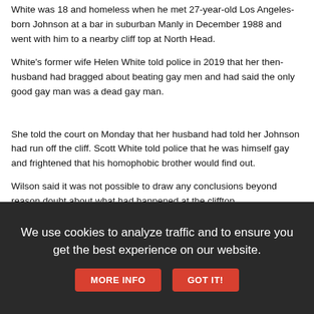White was 18 and homeless when he met 27-year-old Los Angeles-born Johnson at a bar in suburban Manly in December 1988 and went with him to a nearby cliff top at North Head.
White's former wife Helen White told police in 2019 that her then-husband had bragged about beating gay men and had said the only good gay man was a dead gay man.
She told the court on Monday that her husband had told her Johnson had run off the cliff. Scott White told police that he was himself gay and frightened that his homophobic brother would find out.
Wilson said it was not possible to draw any conclusions beyond reason doubt about what had happened at the clifftop.
We use cookies to analyze traffic and to ensure you get the best experience on our website. MORE INFO GOT IT!